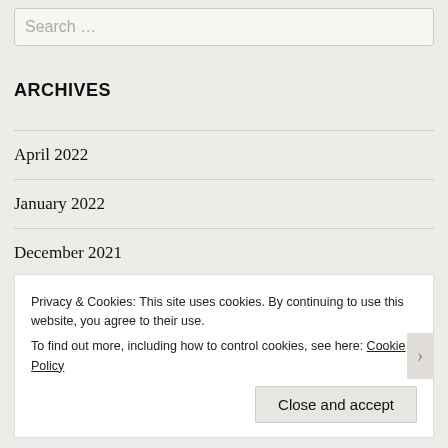Search …
ARCHIVES
April 2022
January 2022
December 2021
November 2021
October 2021
September 2021
Privacy & Cookies: This site uses cookies. By continuing to use this website, you agree to their use.
To find out more, including how to control cookies, see here: Cookie Policy
Close and accept